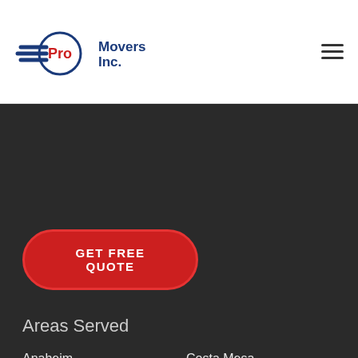[Figure (logo): Pro Movers Inc. logo with blue circle, red Pro text, blue Movers Inc. text, and blue wing stripes on the left]
[Figure (other): Hamburger menu icon with three horizontal lines]
GET FREE QUOTE
Areas Served
Anaheim
Costa Mesa
Fountain Valley
Huntington Beach
Irvine
Laguna Beach
Laguna Hills
Laguna Niguel
Lake Forest
Mission Viejo